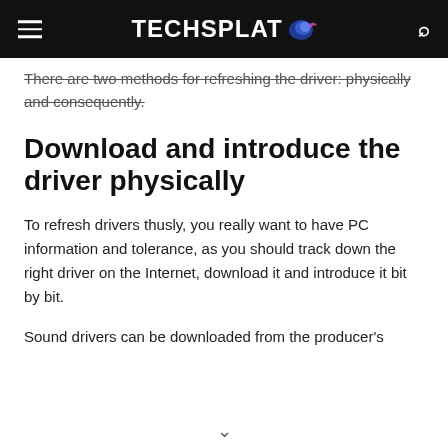TECHSPLAT
There are two methods for refreshing the driver: physically and consequently.
Download and introduce the driver physically
To refresh drivers thusly, you really want to have PC information and tolerance, as you should track down the right driver on the Internet, download it and introduce it bit by bit.
Sound drivers can be downloaded from the producer's